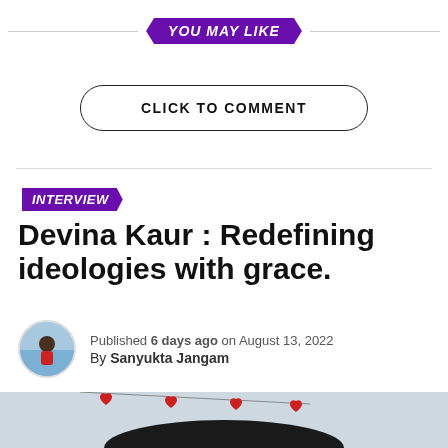YOU MAY LIKE
CLICK TO COMMENT
INTERVIEW
Devina Kaur : Redefining ideologies with grace.
Published 6 days ago on August 13, 2022
By Sanyukta Jangam
[Figure (photo): Partial photo of a person with dark hair, with red heart decorations visible in background, light blue/grey sky background]